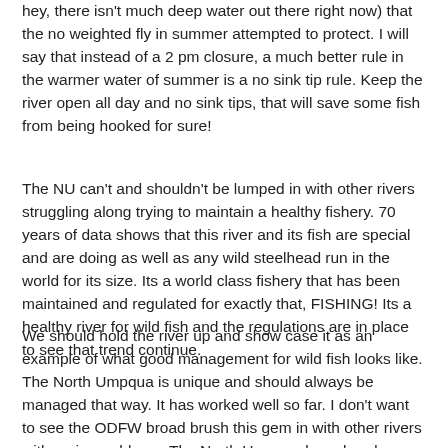hey, there isn't much deep water out there right now) that the no weighted fly in summer attempted to protect. I will say that instead of a 2 pm closure, a much better rule in the warmer water of summer is a no sink tip rule. Keep the river open all day and no sink tips, that will save some fish from being hooked for sure!
The NU can't and shouldn't be lumped in with other rivers struggling along trying to maintain a healthy fishery. 70 years of data shows that this river and its fish are special and are doing as well as any wild steelhead run in the world for its size. Its a world class fishery that has been maintained and regulated for exactly that, FISHING! Its a healthy river for wild fish and the regulations are in place to see that trend continue.
We should hold the river up and show case it as an example of what good management for wild fish looks like. The North Umpqua is unique and should always be managed that way. It has worked well so far. I don't want to see the ODFW broad brush this gem in with other rivers with major problems. The North Umpqua has already addressed and overcome.so many hurdles, it is standing the test of time as a strong and healthy river